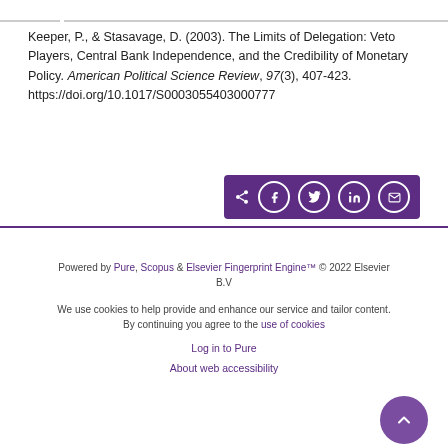Keeper, P., & Stasavage, D. (2003). The Limits of Delegation: Veto Players, Central Bank Independence, and the Credibility of Monetary Policy. American Political Science Review, 97(3), 407-423. https://doi.org/10.1017/S0003055403000777
[Figure (other): Social share bar with icons for share, Facebook, Twitter, LinkedIn, and email on a dark purple background]
Powered by Pure, Scopus & Elsevier Fingerprint Engine™ © 2022 Elsevier B.V
We use cookies to help provide and enhance our service and tailor content. By continuing you agree to the use of cookies
Log in to Pure
About web accessibility